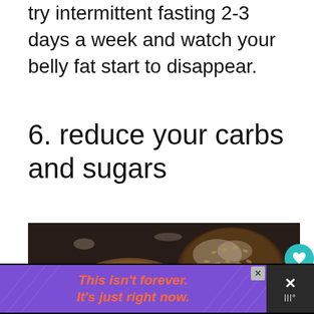try intermittent fasting 2-3 days a week and watch your belly fat start to disappear.
6. reduce your carbs and sugars
[Figure (photo): Photo of three dark whole-grain bread rolls/loaves on a dark surface with a wheat stalk, flour dusted, seeds on top]
[Figure (infographic): Advertisement bar: purple background with diagonal lines, orange italic bold text 'This isn't forever. It's just right now.' with close button and share icon on right]